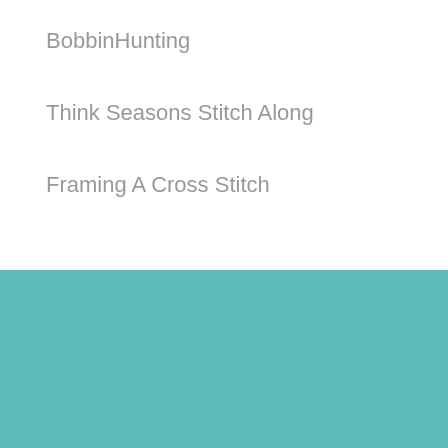BobbinHunting
Think Seasons Stitch Along
Framing A Cross Stitch
Need More Creative Inspiration? Join the creativity movement!
First Name
Your email
Submit!